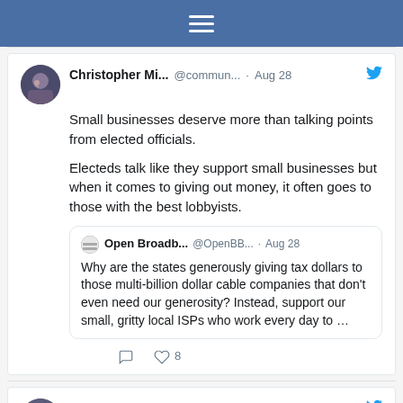[Figure (screenshot): Twitter/social media top navigation bar with hamburger menu icon on blue background]
Christopher Mi... @commun... · Aug 28
Small businesses deserve more than talking points from elected officials.

Electeds talk like they support small businesses but when it comes to giving out money, it often goes to those with the best lobbyists.

Open Broadb... @OpenBB... · Aug 28
Why are the states generously giving tax dollars to those multi-billion dollar cable companies that don't even need our generosity? Instead, support our small, gritty local ISPs who work every day to …

♡ 8
Christopher Mi... @commun... · Aug 27